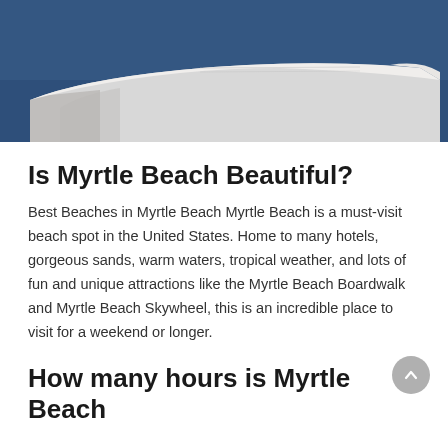[Figure (photo): Aerial view of an airplane wing against a dark blue sky]
Is Myrtle Beach Beautiful?
Best Beaches in Myrtle Beach Myrtle Beach is a must-visit beach spot in the United States. Home to many hotels, gorgeous sands, warm waters, tropical weather, and lots of fun and unique attractions like the Myrtle Beach Boardwalk and Myrtle Beach Skywheel, this is an incredible place to visit for a weekend or longer.
How many hours is Myrtle Beach